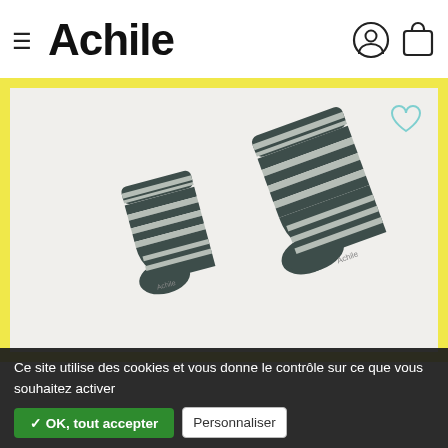≡ Achile
[Figure (photo): Product photo of two dark grey and light grey striped ankle socks (one small, one larger) on a light background, inside a yellow-bordered frame. A heart/wishlist icon appears in the top right corner of the product frame.]
Ce site utilise des cookies et vous donne le contrôle sur ce que vous souhaitez activer ✓ OK, tout accepter Personnaliser